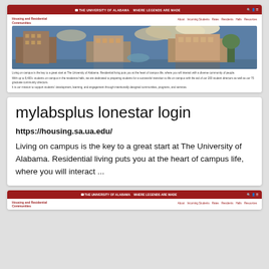[Figure (screenshot): Screenshot of University of Alabama Housing and Residential Communities website with campus photo]
mylabsplus lonestar login
https://housing.sa.ua.edu/
Living on campus is the key to a great start at The University of Alabama. Residential living puts you at the heart of campus life, where you will interact ...
[Figure (screenshot): Partial screenshot of University of Alabama Housing and Residential Communities website]